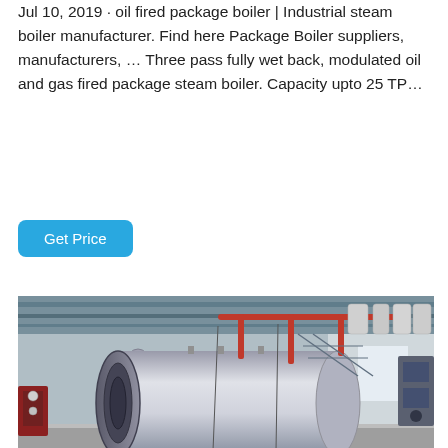Jul 10, 2019 · oil fired package boiler | Industrial steam boiler manufacturer. Find here Package Boiler suppliers, manufacturers, … Three pass fully wet back, modulated oil and gas fired package steam boiler. Capacity upto 25 TP…
Get Price
[Figure (photo): Industrial boiler room with a large horizontal cylindrical steam boiler (silver/metallic finish) on the left, red pipes overhead, ductwork and pipes running along the ceiling, and equipment visible in the background.]